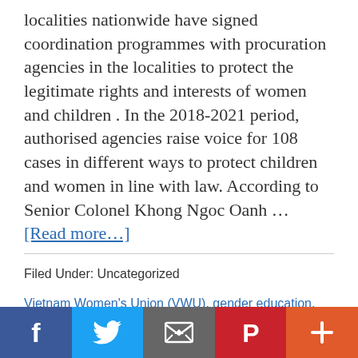localities nationwide have signed coordination programmes with procuration agencies in the localities to protect the legitimate rights and interests of women and children . In the 2018-2021 period, authorised agencies raise voice for 108 cases in different ways to protect children and women in line with law. According to Senior Colonel Khong Ngoc Oanh … [Read more…]
Filed Under: Uncategorized
Vietnam Women's Union (VWU), gender education, gender issues, interests of women and children, Vietnam, Vietnam news, Vietnam News Agency, Society